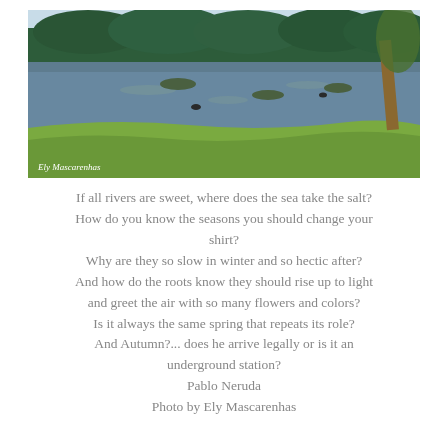[Figure (photo): Landscape photo of a calm river or lake with lush green trees in the background, grassy bank in the foreground, and warm golden light on the right side. Watermark 'Ely Mascarenhas' in the bottom-left corner.]
If all rivers are sweet, where does the sea take the salt?
How do you know the seasons you should change your shirt?
Why are they so slow in winter and so hectic after?
And how do the roots know they should rise up to light
and greet the air with so many flowers and colors?
Is it always the same spring that repeats its role?
And Autumn?... does he arrive legally or is it an
underground station?
Pablo Neruda
Photo by Ely Mascarenhas